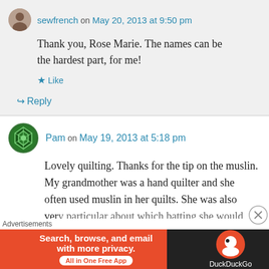sewfrench on May 20, 2013 at 9:50 pm
Thank you, Rose Marie. The names can be the hardest part, for me!
Like
Reply
Pam on May 19, 2013 at 5:18 pm
Lovely quilting. Thanks for the tip on the muslin. My grandmother was a hand quilter and she often used muslin in her quilts. She was also very particular about which batting she would
Advertisements
[Figure (infographic): DuckDuckGo advertisement banner: orange section with text 'Search, browse, and email with more privacy. All in One Free App' and dark section with DuckDuckGo logo]